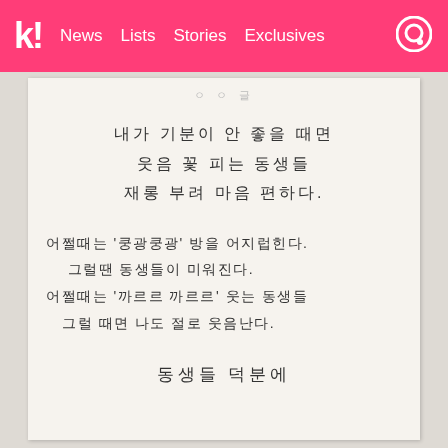K! News Lists Stories Exclusives
[Figure (photo): Photograph of a printed Korean poem on a book page. The poem reads: 내가 기분이 안 좋을 때면 / 웃음 꽃 피는 동생들 / 재롱 부려 마음 편하다. // 어쩔때는 '쿵광쿵광' 방을 어지럽힌다. / 그럴땐 동생들이 미워진다. / 어쩔때는 '까르르 까르르' 웃는 동생들 / 그럴 때면 나도 절로 웃음난다. // 동생들 덕분에]
내가 기분이 안 좋을 때면
웃음 꽃 피는 동생들
재롱 부려 마음 편하다.

어쩔때는 '쿵광쿵광' 방을 어지럽힌다.
그럴땐 동생들이 미워진다.
어쩔때는 '까르르 까르르' 웃는 동생들
그럴 때면 나도 절로 웃음난다.

동생들 덕분에